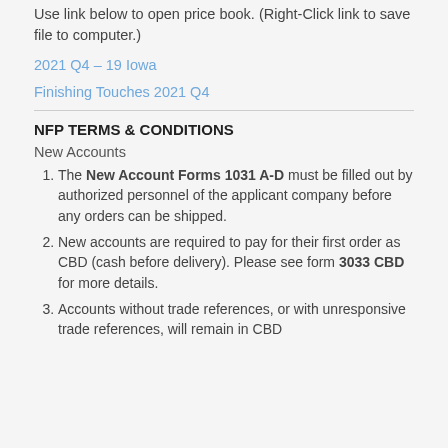Use link below to open price book. (Right-Click link to save file to computer.)
2021 Q4 – 19 Iowa
Finishing Touches 2021 Q4
NFP TERMS & CONDITIONS
New Accounts
The New Account Forms 1031 A-D must be filled out by authorized personnel of the applicant company before any orders can be shipped.
New accounts are required to pay for their first order as CBD (cash before delivery). Please see form 3033 CBD for more details.
Accounts without trade references, or with unresponsive trade references, will remain in CBD